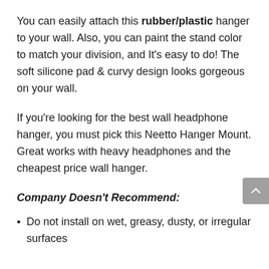You can easily attach this rubber/plastic hanger to your wall. Also, you can paint the stand color to match your division, and It's easy to do! The soft silicone pad & curvy design looks gorgeous on your wall.
If you're looking for the best wall headphone hanger, you must pick this Neetto Hanger Mount. Great works with heavy headphones and the cheapest price wall hanger.
Company Doesn't Recommend:
Do not install on wet, greasy, dusty, or irregular surfaces